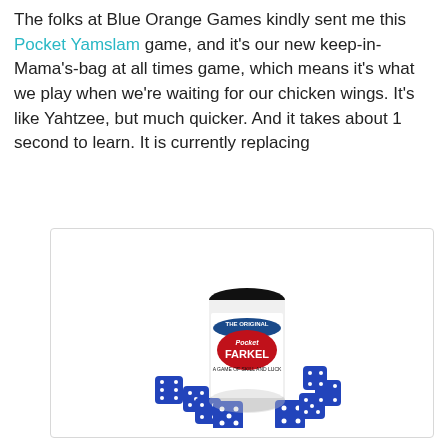The folks at Blue Orange Games kindly sent me this Pocket Yamslam game, and it's our new keep-in-Mama's-bag at all times game, which means it's what we play when we're waiting for our chicken wings. It's like Yahtzee, but much quicker. And it takes about 1 second to learn. It is currently replacing
[Figure (photo): Pocket Farkel game product photo showing a small cylindrical container labeled 'THE ORIGINAL Pocket FARKEL' surrounded by blue dice with white dots]